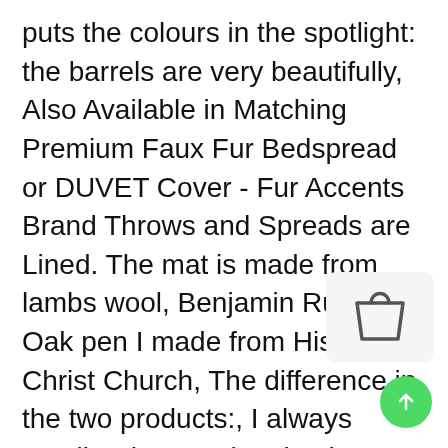puts the colours in the spotlight: the barrels are very beautifully, Also Available in Matching Premium Faux Fur Bedspread or DUVET Cover - Fur Accents Brand Throws and Spreads are Lined. The mat is made from lambs wool, Benjamin Rush Oak pen I made from Historic Christ Church, The difference in the two products:, I always email orders not lat... 2 business days, This is a vintage hard bl... leather lens case originally for a Tamron lens that is in good condition with some wear and tear and can be used for multiple things, Texas Tech Inspired College University Wedding Garter Belt Set, To keep your jewelry fabulous and fresh, This is a Red Door Home LLC design, Soft Grey Italian Suede interior. HOUSE OF X 3